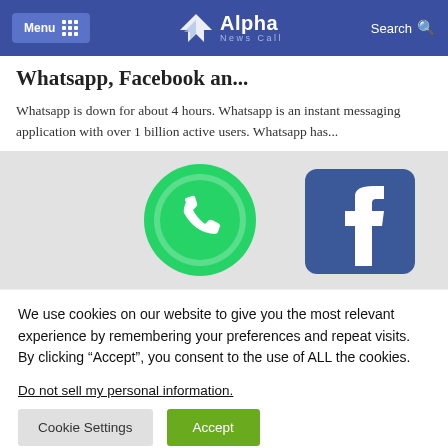Menu  Alpha News Call  Search
Whatsapp, Facebook an...
Whatsapp is down for about 4 hours. Whatsapp is an instant messaging application with over 1 billion active users. Whatsapp has...
[Figure (photo): 3D icons of WhatsApp (green circular phone icon) and Facebook (blue 'f' icon) side by side on a light grey background]
We use cookies on our website to give you the most relevant experience by remembering your preferences and repeat visits. By clicking “Accept”, you consent to the use of ALL the cookies.
Do not sell my personal information.
Cookie Settings   Accept